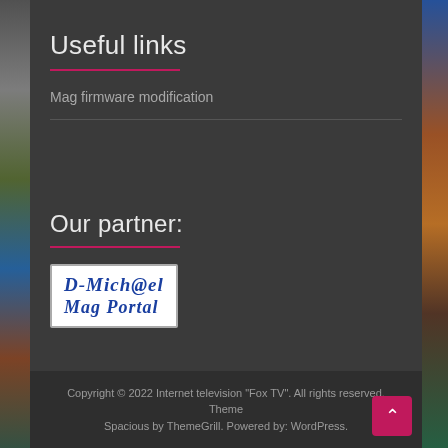Useful links
Mag firmware modification
Our partner:
[Figure (logo): D-Mich@el Mag Portal logo — blue italic bold text on white background with border]
Copyright © 2022 Internet television "Fox TV". All rights reserved. Theme Spacious by ThemeGrill. Powered by: WordPress.